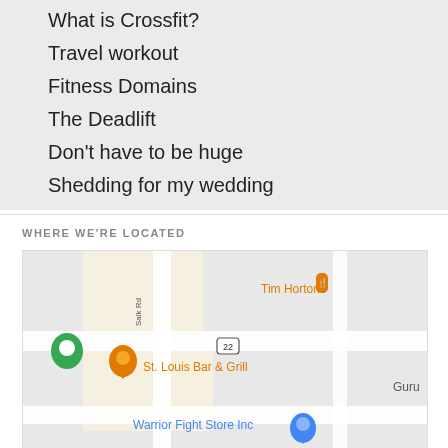What is Crossfit?
Travel workout
Fitness Domains
The Deadlift
Don't have to be huge
Shedding for my wedding
WHERE WE'RE LOCATED
[Figure (map): Google Maps screenshot showing Tim Hortons, St. Louis Bar & Grill, Warrior Fight Store Inc, Salk Rd, road 22, and a green location pin. Text 'Guru' visible on right edge.]